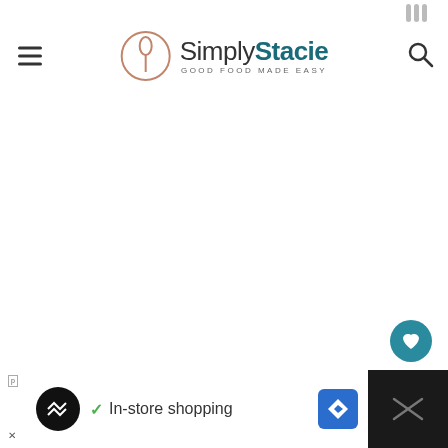Simply Stacie - GOOD FOOD MADE EASY
[Figure (screenshot): White blank main content area of a recipe website]
[Figure (infographic): Floating heart like button (teal circle with heart icon) with count 13 and share button below]
[Figure (infographic): What's Next widget showing a small jar image and text '10 Ways to Clean with...' with arrow]
[Figure (infographic): Advertisement bar at bottom: black background with white section showing 'In-store shopping' text, navigation diamond icon, and weather app icon]